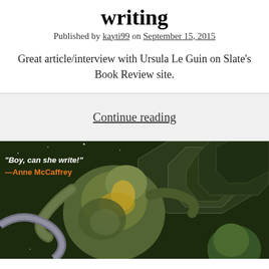writing
Published by kayti99 on September 15, 2015
Great article/interview with Ursula Le Guin on Slate's Book Review site.
Continue reading
[Figure (photo): Book cover showing alien creatures in space suits with the text: "Boy, can she write!" —Anne McCaffrey]